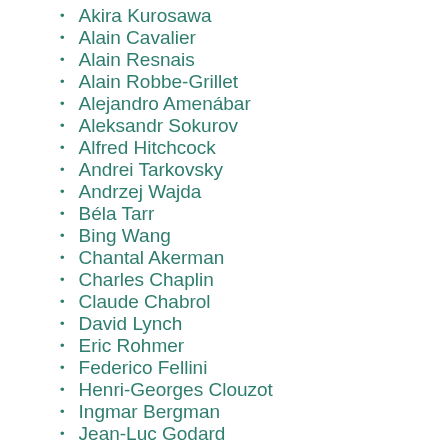Akira Kurosawa
Alain Cavalier
Alain Resnais
Alain Robbe-Grillet
Alejandro Amenábar
Aleksandr Sokurov
Alfred Hitchcock
Andrei Tarkovsky
Andrzej Wajda
Béla Tarr
Bing Wang
Chantal Akerman
Charles Chaplin
Claude Chabrol
David Lynch
Eric Rohmer
Federico Fellini
Henri-Georges Clouzot
Ingmar Bergman
Jean-Luc Godard